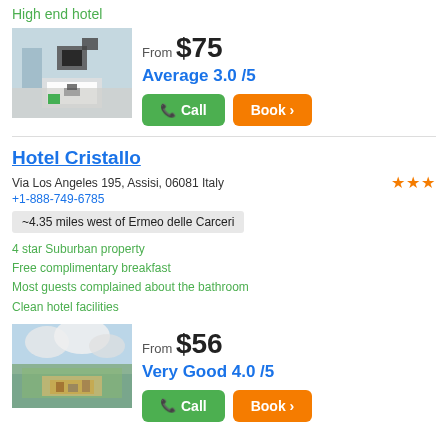High end hotel
[Figure (photo): Hotel room interior with desk and monitors]
From $75
Average 3.0 /5
Call
Book >
Hotel Cristallo
Via Los Angeles 195, Assisi, 06081 Italy
+1-888-749-6785
~4.35 miles west of Ermeo delle Carceri
4 star Suburban property
Free complimentary breakfast
Most guests complained about the bathroom
Clean hotel facilities
[Figure (photo): Outdoor scenic view with blue sky and clouds, hilltop buildings]
From $56
Very Good 4.0 /5
Call
Book >